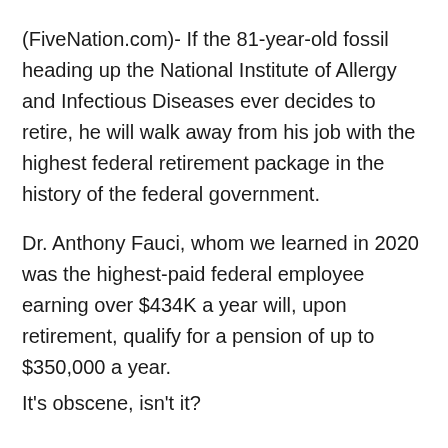(FiveNation.com)- If the 81-year-old fossil heading up the National Institute of Allergy and Infectious Diseases ever decides to retire, he will walk away from his job with the highest federal retirement package in the history of the federal government.
Dr. Anthony Fauci, whom we learned in 2020 was the highest-paid federal employee earning over $434K a year will, upon retirement, qualify for a pension of up to $350,000 a year.
It's obscene, isn't it?